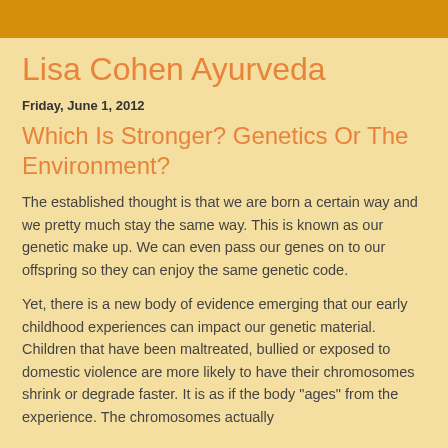Lisa Cohen Ayurveda
Friday, June 1, 2012
Which Is Stronger? Genetics Or The Environment?
The established thought is that we are born a certain way and we pretty much stay the same way.  This is known as our genetic make up.  We can even pass our genes on to our offspring so they can enjoy the same genetic code.
Yet, there is a new body of evidence emerging that our early childhood experiences can impact our genetic material.  Children that have been maltreated, bullied or exposed to domestic violence are more likely to have their chromosomes shrink or degrade faster.  It is as if the body "ages" from the experience.  The chromosomes actually